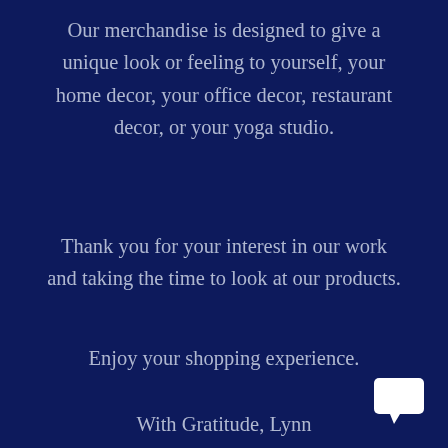Our merchandise is designed to give a unique look or feeling to yourself, your home decor, your office decor, restaurant decor, or your yoga studio.
Thank you for your interest in our work and taking the time to look at our products.
Enjoy your shopping experience.
With Gratitude, Lynn
[Figure (illustration): White chat bubble / comment icon in bottom right corner]